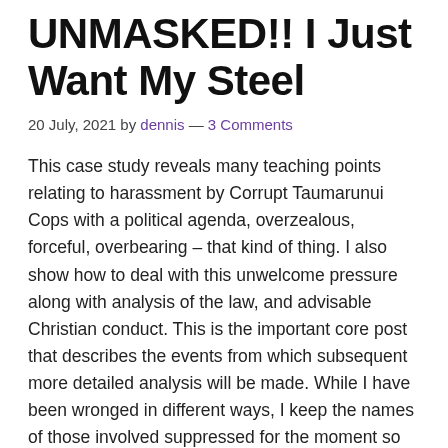UNMASKED!! I Just Want My Steel
20 July, 2021 by dennis — 3 Comments
This case study reveals many teaching points relating to harassment by Corrupt Taumarunui Cops with a political agenda, overzealous, forceful, overbearing – that kind of thing. I also show how to deal with this unwelcome pressure along with analysis of the law, and advisable Christian conduct. This is the important core post that describes the events from which subsequent more detailed analysis will be made. While I have been wronged in different ways, I keep the names of those involved suppressed for the moment so as to keep the doors to private resolution peacefully open. Most people don't like their sins to be made known but while they almost always NEVER actually do the honourable thing